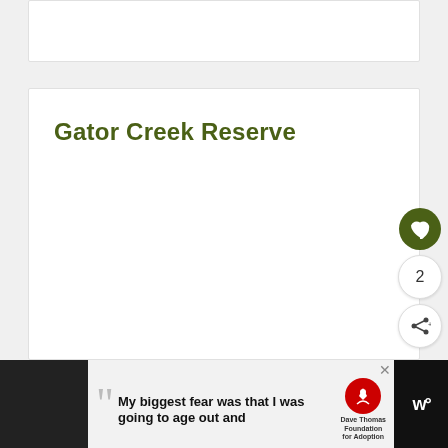Gator Creek Reserve
[Figure (other): Floating action button with heart icon (favorite), count of 2, and share button on right side of page]
[Figure (other): Advertisement banner at bottom: black background with person photo, quote text 'My biggest fear was that I was going to age out and', Dave Thomas Foundation for Adoption logo, and Wattpad logo]